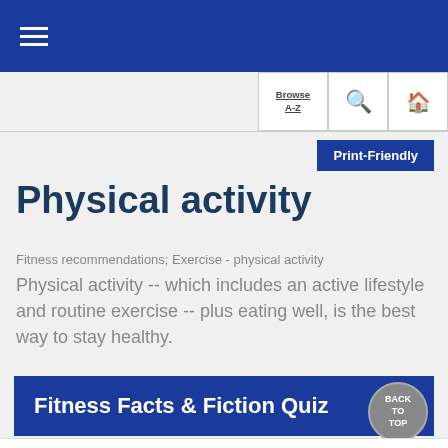≡ (hamburger menu)
Browse A-Z | Search | Home
Print-Friendly
Physical activity
Fitness recommendations; Exercise - physical activity
Physical activity -- which includes an active lifestyle and routine exercise -- plus eating well, is the best way to stay healthy.
[Figure (other): Blue banner with text 'Fitness Facts & Fiction Quiz' and a circular 'BACK TO TOP' button on the right]